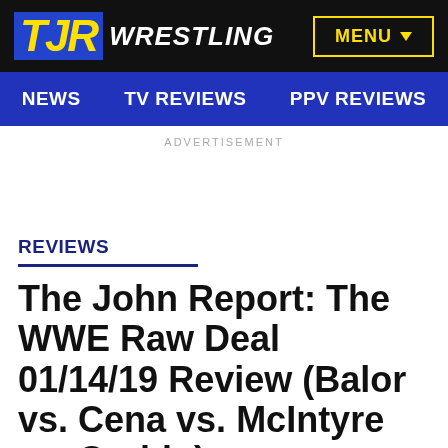TJR WRESTLING | MENU
NEWS   TV REVIEWS   PPV REVIEWS
ADVERTISEMENT
REVIEWS
The John Report: The WWE Raw Deal 01/14/19 Review (Balor vs. Cena vs. McIntyre vs. Corbin)